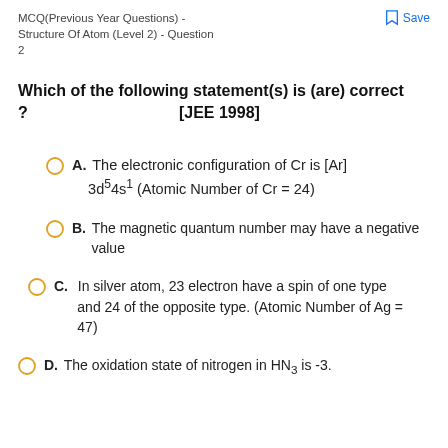MCQ(Previous Year Questions) - Structure Of Atom (Level 2) - Question 2
Which of the following statement(s) is (are) correct ? [JEE 1998]
A. The electronic configuration of Cr is [Ar] 3d^5 4s^1 (Atomic Number of Cr = 24)
B. The magnetic quantum number may have a negative value
C. In silver atom, 23 electron have a spin of one type and 24 of the opposite type. (Atomic Number of Ag = 47)
D. The oxidation state of nitrogen in HN3 is -3.